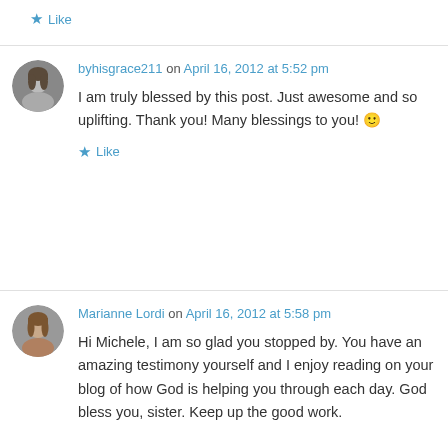★ Like
byhisgrace211 on April 16, 2012 at 5:52 pm
I am truly blessed by this post. Just awesome and so uplifting. Thank you! Many blessings to you! 🙂
★ Like
Marianne Lordi on April 16, 2012 at 5:58 pm
Hi Michele, I am so glad you stopped by. You have an amazing testimony yourself and I enjoy reading on your blog of how God is helping you through each day. God bless you, sister. Keep up the good work.